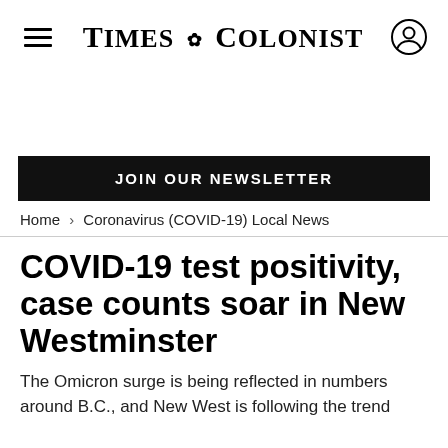TIMES COLONIST
JOIN OUR NEWSLETTER
Home > Coronavirus (COVID-19) Local News
COVID-19 test positivity, case counts soar in New Westminster
The Omicron surge is being reflected in numbers around B.C., and New West is following the trend